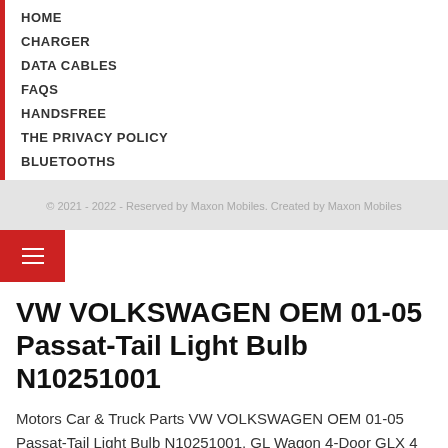HOME
CHARGER
DATA CABLES
FAQS
HANDSFREE
THE PRIVACY POLICY
BLUETOOTHS
© 2021 - 2022 - Reserved by Maxon Mobiles. Created by Maxon Mobiles
VW VOLKSWAGEN OEM 01-05 Passat-Tail Light Bulb N10251001
Motors Car & Truck Parts VW VOLKSWAGEN OEM 01-05 Passat-Tail Light Bulb N10251001, GL Wagon 4-Door GLX 4 Motion Sedan 4-Door GLS Wagon 4-Door This part generally fits Volkswagen vehicles and includes models such as Passat for the trims of 1 GL Sedan 4-Door W8 Wagon 4-Door GLS 4 Motion